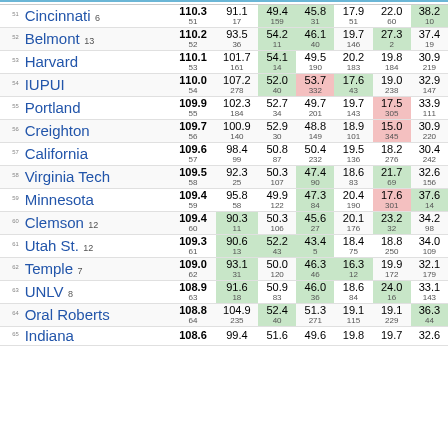| # | Team | AdjEM | AdjO | AdjD | Luck | SOS AdjEM | OppO | OppD |
| --- | --- | --- | --- | --- | --- | --- | --- | --- |
| 51 | Cincinnati 6 | 110.3 51 | 91.1 17 | 49.4 159 | 45.8 31 | 17.9 51 | 22.0 60 | 38.2 10 |
| 52 | Belmont 13 | 110.2 52 | 93.5 36 | 54.2 11 | 46.1 40 | 19.7 146 | 27.3 2 | 37.4 19 |
| 53 | Harvard | 110.1 53 | 101.7 161 | 54.1 14 | 49.5 190 | 20.2 183 | 19.8 184 | 30.9 219 |
| 54 | IUPUI | 110.0 54 | 107.2 278 | 52.0 40 | 53.7 332 | 17.6 43 | 19.0 238 | 32.9 147 |
| 55 | Portland | 109.9 55 | 102.3 184 | 52.7 34 | 49.7 201 | 19.7 143 | 17.5 305 | 33.9 111 |
| 56 | Creighton | 109.7 56 | 100.9 140 | 52.9 30 | 48.8 149 | 18.9 101 | 15.0 345 | 30.9 220 |
| 57 | California | 109.6 57 | 98.4 99 | 50.8 87 | 50.4 232 | 19.5 136 | 18.2 276 | 30.4 242 |
| 58 | Virginia Tech | 109.5 58 | 92.3 25 | 50.3 107 | 47.4 90 | 18.6 83 | 21.7 69 | 32.6 156 |
| 59 | Minnesota | 109.4 59 | 95.8 58 | 49.9 122 | 47.3 84 | 20.4 190 | 17.6 301 | 37.6 14 |
| 60 | Clemson 12 | 109.4 60 | 90.3 11 | 50.3 106 | 45.6 27 | 20.1 176 | 23.2 32 | 34.2 98 |
| 61 | Utah St. 12 | 109.3 61 | 90.6 13 | 52.2 43 | 43.4 5 | 18.4 75 | 18.8 250 | 34.0 109 |
| 62 | Temple 7 | 109.0 62 | 93.1 31 | 50.0 120 | 46.3 46 | 16.3 12 | 19.9 172 | 32.1 179 |
| 63 | UNLV 8 | 108.9 63 | 91.6 18 | 50.9 83 | 46.0 36 | 18.6 84 | 24.0 16 | 33.1 143 |
| 64 | Oral Roberts | 108.8 64 | 104.9 235 | 52.4 40 | 51.3 271 | 19.1 115 | 19.1 229 | 36.3 44 |
| 65 | Indiana | 108.6 | 99.4 | 51.6 | 49.6 | 19.8 | 19.7 | 32.6 |